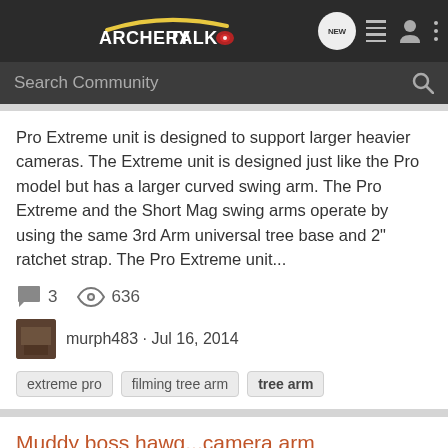ArcheryTalk - Navigation bar with logo, NEW, list, user, and menu icons
Search Community
Pro Extreme unit is designed to support larger heavier cameras. The Extreme unit is designed just like the Pro model but has a larger curved swing arm. The Pro Extreme and the Short Mag swing arms operate by using the same 3rd Arm universal tree base and 2" ratchet strap. The Pro Extreme unit...
3 comments · 636 views
murph483 · Jul 16, 2014
extreme pro
filming tree arm
tree arm
Muddy boss hawg...camera arm
Accessories and General Hunting Items